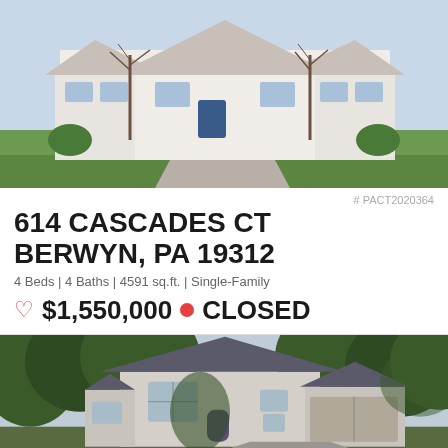[Figure (photo): Exterior photo of a white brick single-family home with green lawn, bare trees, and blue front door]
# PACT2020364
614 CASCADES CT
BERWYN, PA 19312
4 Beds | 4 Baths | 4591 sq.ft. | Single-Family
♡ $1,550,000 • CLOSED
[Figure (photo): Exterior photo of a large gray/tan two-story Colonial-style home surrounded by trees with a two-car garage]